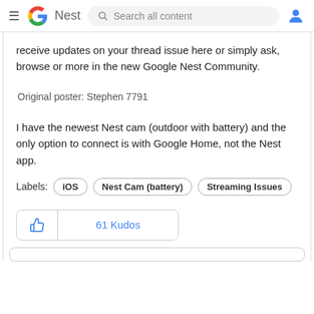≡ G Nest | Search all content | [user icon]
receive updates on your thread issue here or simply ask, browse or more in the new Google Nest Community.
Original poster: Stephen 7791
I have the newest Nest cam (outdoor with battery) and the only option to connect is with Google Home, not the Nest app.
Labels: iOS | Nest Cam (battery) | Streaming Issues
61 Kudos